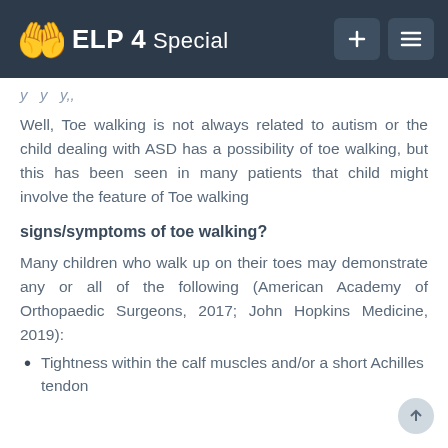ELP 4 Special
y y y,,
Well, Toe walking is not always related to autism or the child dealing with ASD has a possibility of toe walking, but this has been seen in many patients that child might involve the feature of Toe walking
signs/symptoms of toe walking?
Many children who walk up on their toes may demonstrate any or all of the following (American Academy of Orthopaedic Surgeons, 2017; John Hopkins Medicine, 2019):
Tightness within the calf muscles and/or a short Achilles tendon